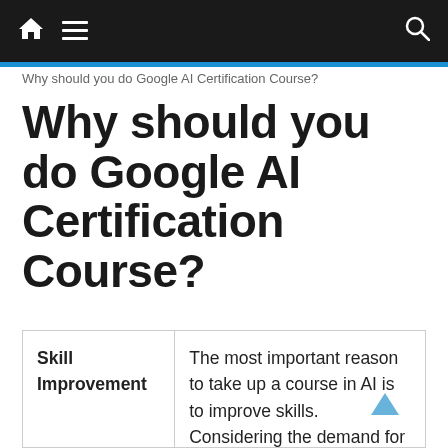Navigation bar with home icon, menu icon, and search icon
Why should you do Google AI Certification Course?
Why should you do Google AI Certification Course?
|  |  |
| --- | --- |
| Skill Improvement | The most important reason to take up a course in AI is to improve skills. Considering the demand for AI nowadays, it only makes sense for a student to take up courses and hone their skills. |